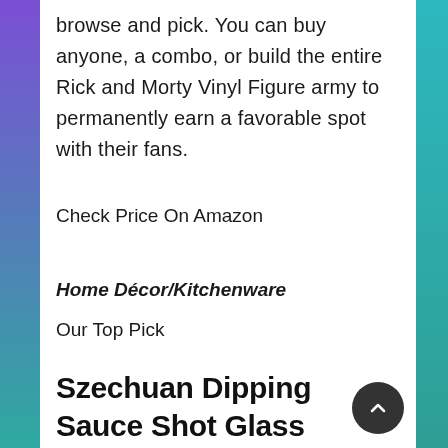browse and pick. You can buy anyone, a combo, or build the entire Rick and Morty Vinyl Figure army to permanently earn a favorable spot with their fans.
Check Price On Amazon
Home Décor/Kitchenware
Our Top Pick
Szechuan Dipping Sauce Shot Glass